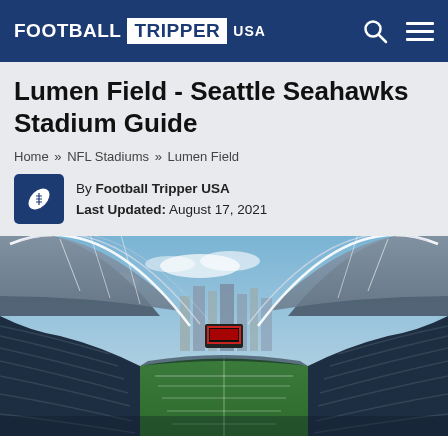FOOTBALL TRIPPER USA
Lumen Field - Seattle Seahawks Stadium Guide
Home » NFL Stadiums » Lumen Field
By Football Tripper USA
Last Updated: August 17, 2021
[Figure (photo): Interior aerial view of Lumen Field (Seattle Seahawks stadium) with the Seattle skyline visible in the background, showing the open roof structure, green turf field, and stadium seating]